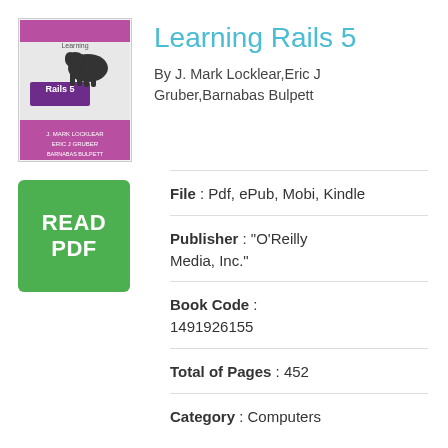[Figure (illustration): Book cover of Learning Rails 5 with a horse illustration on a white background with purple and white coloring]
Learning Rails 5
By J. Mark Locklear,Eric J Gruber,Barnabas Bulpett
[Figure (other): Green READ PDF button]
File : Pdf, ePub, Mobi, Kindle
Publisher : "O'Reilly Media, Inc."
Book Code : 1491926155
Total of Pages : 452
Category : Computers